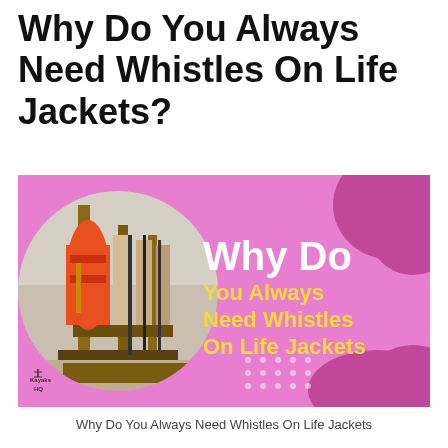Why Do You Always Need Whistles On Life Jackets?
[Figure (illustration): Promotional thumbnail image with pink background showing life jackets hanging on a rack (circular photo on left) and bold text overlay reading 'Why Do You Always Need Whistles On Life Jackets' with white and yellow lettering. Kayaks HQ logo in bottom-left corner.]
Why Do You Always Need Whistles On Life Jackets